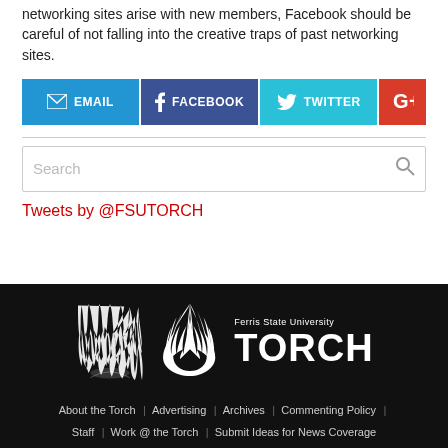networking sites arise with new members, Facebook should be careful of not falling into the creative traps of past networking sites.
[Figure (infographic): Social share buttons: Email (blue), Facebook (dark blue), Twitter (cyan), Google+ (red)]
Tweets by @FSUTORCH
[Figure (logo): Ferris State University Torch logo — flame graphic with text 'Ferris State University' and 'TORCH' on black background]
About the Torch | Advertising | Archives | Commenting Policy | Staff | Work @ the Torch | Submit Ideas for News Coverage